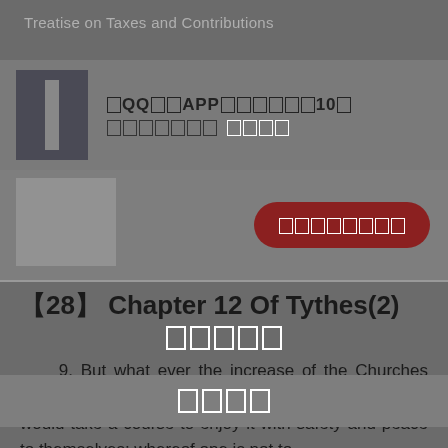Treatise on Taxes and Contributions
[Figure (screenshot): App promotion banner with book cover image and Chinese text about QQ reading app, 10 coins offer]
[Figure (screenshot): Lower banner with book cover image and a dark red rounded button with Chinese characters]
【28】 Chapter 12 Of Tythes(2)
9. But what ever the increase of the Churches Goods are, I grudge it them not; onely wish that they would take a course to enjoy it with safety and peace to themselves; whereof one is not to
[Figure (screenshot): Overlay banner with Chinese characters]